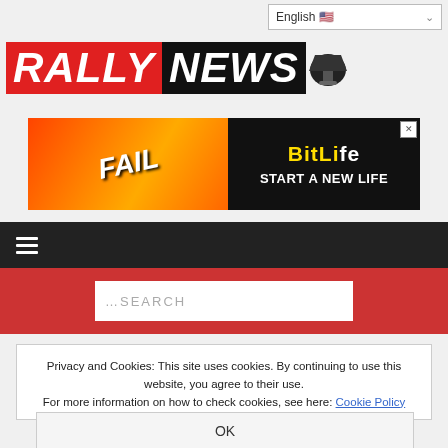English
[Figure (logo): RallyNews logo: RALLY in red italic block letters, NEWS in black italic block letters with a megaphone icon]
[Figure (other): BitLife advertisement banner: FAIL text on orange/fire background on left, BitLife - Start a New Life on black background on right]
[Figure (other): Navigation bar with hamburger menu icon (three horizontal lines) on dark background]
[Figure (other): Search bar with ...SEARCH placeholder on red background]
Privacy and Cookies: This site uses cookies. By continuing to use this website, you agree to their use. For more information on how to check cookies, see here: Cookie Policy
OK